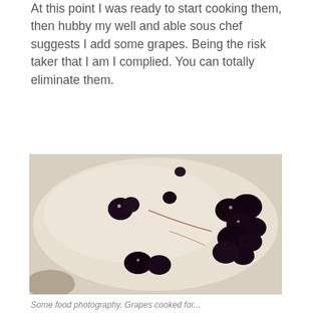At this point I was ready to start cooking them, then hubby my well and able sous chef suggests I add some grapes. Being the risk taker that I am I complied. You can totally eliminate them.
[Figure (photo): A white bowl or plate containing dark cooked grapes (likely roasted or sautéed) scattered across a cream-colored sauce or yogurt base, with some reddish juice streaks visible.]
Some food photography. Grapes cooked for...